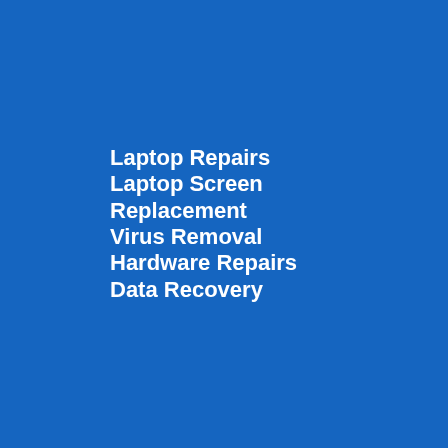Laptop Repairs
Laptop Screen Replacement
Virus Removal
Hardware Repairs
Data Recovery
[Figure (screenshot): Twitter/X tweet card from PC Workshop account posted Aug 18. Text reads: 'PC Workshop has just received another great review on FreeIndex - The UK Business Review Site' with link tinyurl.com/y33yauoz and a preview image showing the PC Workshop logo. Below the tweet is a 'View more on Twi...' button and 'Learn more about...' text. A reCAPTCHA badge is visible in the bottom right corner.]